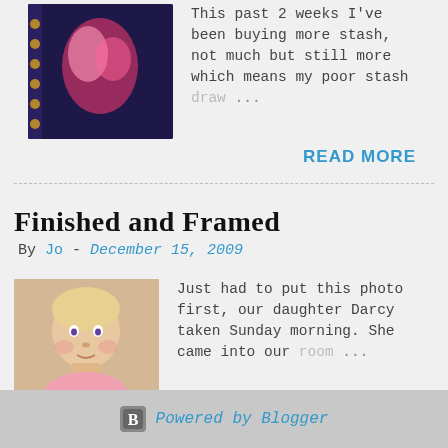This past 2 weeks I've been buying more stash, not much but still more which means my poor stash draw ...
READ MORE
Finished and Framed
By Jo - December 15, 2009
[Figure (photo): Photo of a young baby girl with blonde hair, looking upward, wearing pink]
Just had to put this photo first, our daughter Darcy taken Sunday morning. She came into our room ...
READ MORE
Powered by Blogger